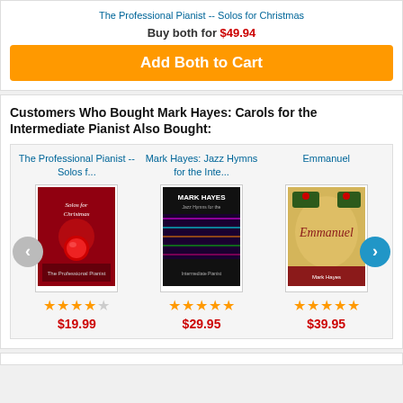The Professional Pianist -- Solos for Christmas
Buy both for $49.94
Add Both to Cart
Customers Who Bought Mark Hayes: Carols for the Intermediate Pianist Also Bought:
The Professional Pianist -- Solos f...
[Figure (photo): Book cover: Solos for Christmas - red background with ornament]
★★★★☆ $19.99
Mark Hayes: Jazz Hymns for the Inte...
[Figure (photo): Book cover: Mark Hayes Jazz Hymns for the Intermediate Pianist - dark with colorful keys]
★★★★★ $29.95
Emmanuel
[Figure (photo): Book cover: Emmanuel - golden/Christmas theme with holly]
★★★★★ $39.95